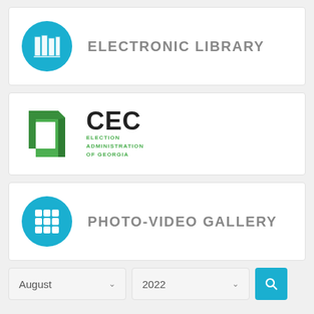[Figure (logo): Electronic Library card with blue circle library icon and text ELECTRONIC LIBRARY in grey uppercase letters]
[Figure (logo): CEC Election Administration of Georgia logo — green square bracket shape with CEC in bold black and subtitle in green small caps]
[Figure (logo): Photo-Video Gallery card with blue circle grid icon and text PHOTO-VIDEO GALLERY in grey uppercase letters]
August  2022